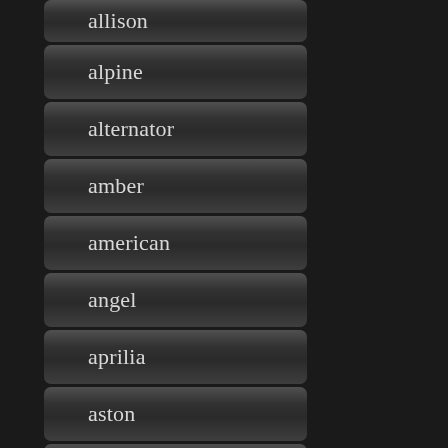allison
alpine
alternator
amber
american
angel
aprilia
aston
astra
attempting
audi
audio